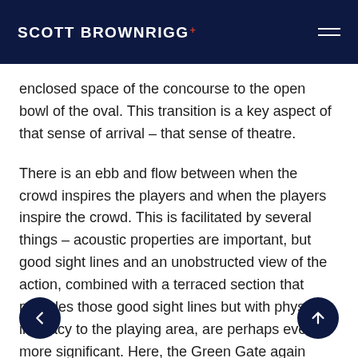SCOTT BROWNRIGG+
enclosed space of the concourse to the open bowl of the oval. This transition is a key aspect of that sense of arrival – that sense of theatre.
There is an ebb and flow between when the crowd inspires the players and when the players inspire the crowd. This is facilitated by several things – acoustic properties are important, but good sight lines and an unobstructed view of the action, combined with a terraced section that provides those good sight lines but with physical intimacy to the playing area, are perhaps even more significant. Here, the Green Gate again provides useful design criteria for establishing a good spectator experience. The measurement is called the 'C' value and is calculated by using the diagram shown